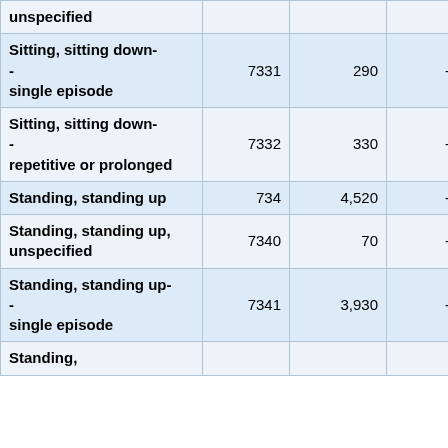| Description | Code | Count | - | - |
| --- | --- | --- | --- | --- |
| unspecified |  |  |  |  |
| Sitting, sitting down-
-
single episode | 7331 | 290 | - | - |
| Sitting, sitting down-
-
repetitive or prolonged | 7332 | 330 | - | - |
| Standing, standing up | 734 | 4,520 | - | - |
| Standing, standing up, unspecified | 7340 | 70 | - | - |
| Standing, standing up-
-
single episode | 7341 | 3,930 | - | - |
| Standing, |  |  |  |  |